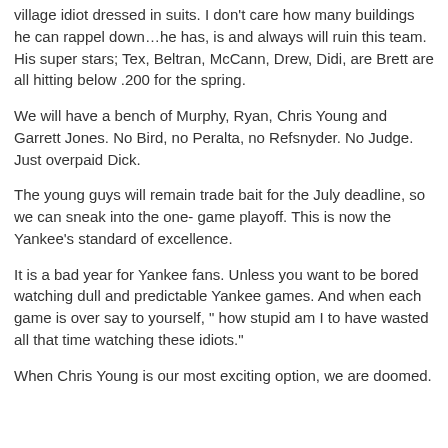village idiot dressed in suits.  I don't care how many buildings he can rappel down…he has, is and always will ruin this team.  His super stars;  Tex, Beltran, McCann, Drew, Didi, are Brett are all hitting below .200 for the spring.
We will have a bench of Murphy, Ryan, Chris Young and Garrett Jones.  No Bird, no Peralta, no Refsnyder. No Judge.  Just overpaid Dick.
The young guys will remain trade bait for the July deadline, so we can sneak into the one- game playoff.  This is now the Yankee's standard of excellence.
It is a bad year for Yankee fans.  Unless you want to be bored watching dull and predictable Yankee games.  And when each game is over say to yourself, " how stupid am I to have wasted all that time watching these idiots."
When Chris Young is our most exciting option, we are doomed.